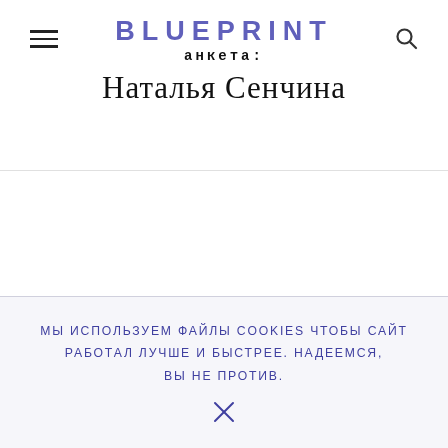BLUEPRINT анкета: Наталья Сенчина
МЫ ИСПОЛЬЗУЕМ ФАЙЛЫ COOKIES ЧТОБЫ САЙТ РАБОТАЛ ЛУЧШЕ И БЫСТРЕЕ. НАДЕЕМСЯ, ВЫ НЕ ПРОТИВ.